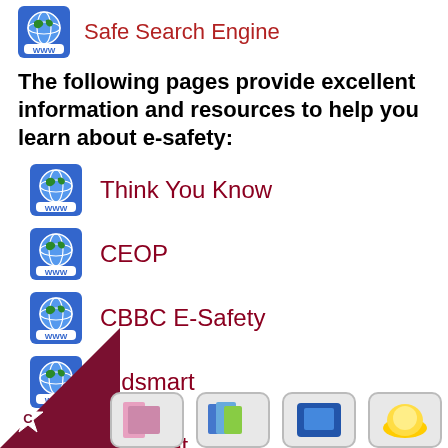Safe Search Engine
The following pages provide excellent information and resources to help you learn about e-safety:
Think You Know
CEOP
CBBC E-Safety
Kidsmart
Childnet